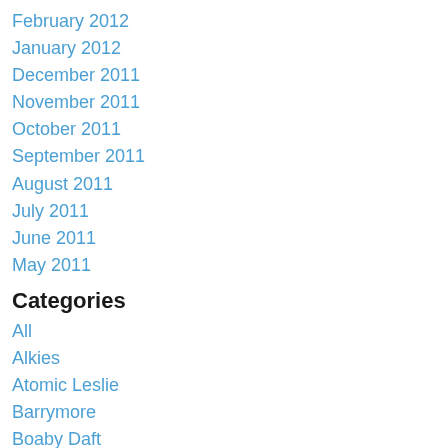February 2012
January 2012
December 2011
November 2011
October 2011
September 2011
August 2011
July 2011
June 2011
May 2011
Categories
All
Alkies
Atomic Leslie
Barrymore
Boaby Daft
Bottle Merchants
Chinese Food
Cousin = Tart
Fud